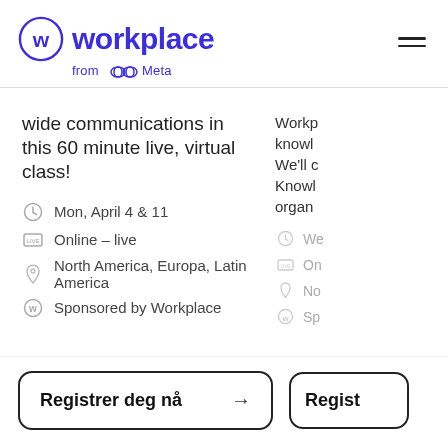workplace from Meta
wide communications in this 60 minute live, virtual class!
Mon, April 4 & 11
Online – live
North America, Europa, Latin America
Sponsored by Workplace
Workp knowl We'll c Knowl organ
We
On
No
Sp
Registrer deg nå →
Regist